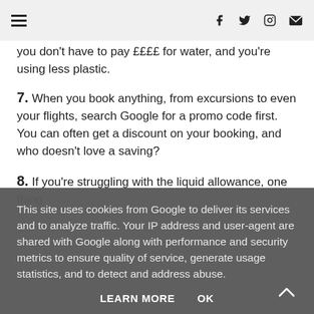[hamburger menu icon] [Facebook icon] [Twitter icon] [Instagram icon] [Email icon]
you don't have to pay ££££ for water, and you're using less plastic.
7. When you book anything, from excursions to even your flights, search Google for a promo code first. You can often get a discount on your booking, and who doesn't love a saving?
8. If you're struggling with the liquid allowance, one thing
This site uses cookies from Google to deliver its services and to analyze traffic. Your IP address and user-agent are shared with Google along with performance and security metrics to ensure quality of service, generate usage statistics, and to detect and address abuse.
LEARN MORE   OK